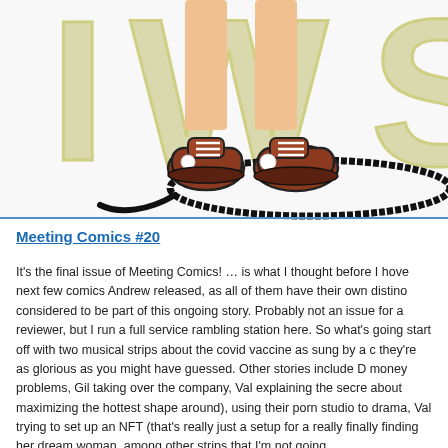[Figure (illustration): Comic book style illustration showing legs and sneakers/shoes of a character standing in a circle, with large stylized text in the background reading partial letters. Brown/red sneakers with white laces and white dot detail are visible.]
Meeting Comics #20
It's the final issue of Meeting Comics! … is what I thought before I hove next few comics Andrew released, as all of them have their own distino considered to be part of this ongoing story. Probably not an issue for a reviewer, but I run a full service rambling station here. So what's going start off with two musical strips about the covid vaccine as sung by a c they're as glorious as you might have guessed. Other stories include D money problems, Gil taking over the company, Val explaining the secre about maximizing the hottest shape around), using their porn studio to drama, Val trying to set up an NFT (that's really just a setup for a really finally finding her dream woman, among other strips that I'm not going